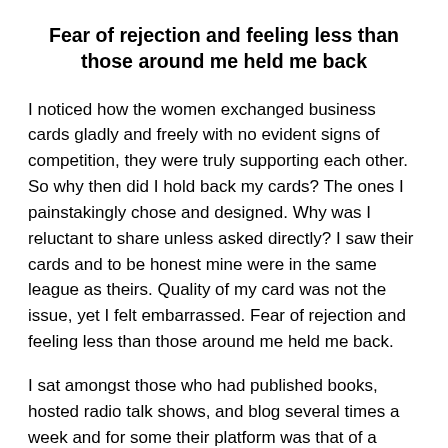Fear of rejection and feeling less than those around me held me back
I noticed how the women exchanged business cards gladly and freely with no evident signs of competition, they were truly supporting each other. So why then did I hold back my cards? The ones I painstakingly chose and designed. Why was I reluctant to share unless asked directly? I saw their cards and to be honest mine were in the same league as theirs. Quality of my card was not the issue, yet I felt embarrassed. Fear of rejection and feeling less than those around me held me back.
I sat amongst those who had published books, hosted radio talk shows, and blog several times a week and for some their platform was that of a speaker. Then there